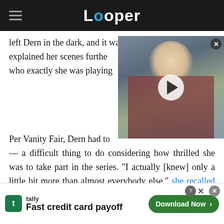Looper
left Dern in the dark, and it was only after he explained her scenes further who exactly she was playing
[Figure (screenshot): Video thumbnail showing a blonde woman, with a play button overlay]
Per Vanity Fair, Dern had to — a difficult thing to do considering how thrilled she was to take part in the series. "I actually [knew] only a little bit more than almost everybody else," she recalled of her experience to W. Having worked with Lynch on three different projects before "Twin
[Figure (infographic): Tally advertisement banner with text 'Fast credit card payoff' and a 'Download Now' button]